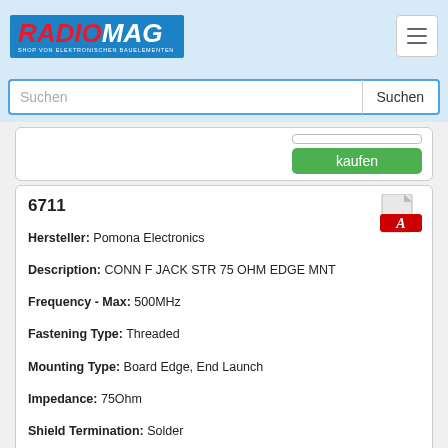RADIOMAG - SHOP VON ELEKTRONISCHEN BAUELEMENTEN
Suchen
6711
Hersteller: Pomona Electronics
Description: CONN F JACK STR 75 OHM EDGE MNT
Frequency - Max: 500MHz
Fastening Type: Threaded
Mounting Type: Board Edge, End Launch
Impedance: 75Ohm
Shield Termination: Solder
Contact Termination: Solder
Connector Type: Jack, Female Socket
Connector Style: F Type
Produkt ist nicht verfügbar, Sie können Anfrage senden wenn Sie Produkt in den Warenkorb hinzufügen
auf Bestellung 550 Stücke - Preis und Lieferfrist anzeigen